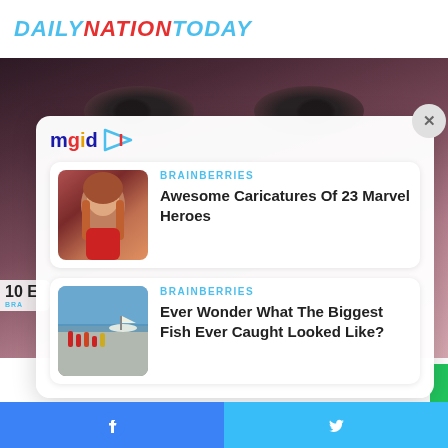DAILYNATIONTODAY
[Figure (photo): Close-up photo of a woman's eyes with dark eye makeup and black hair, blurred background.]
[Figure (logo): mgid logo with colorful play button icon]
BRAINBERRIES
Awesome Caricatures Of 23 Marvel Heroes
[Figure (photo): Thumbnail showing a cartoon illustration of a Marvel female hero with red outfit and long hair.]
BRAINBERRIES
Ever Wonder What The Biggest Fish Ever Caught Looked Like?
[Figure (photo): Thumbnail showing people at a seaside with boats and water in background.]
Facebook share button | Twitter share button